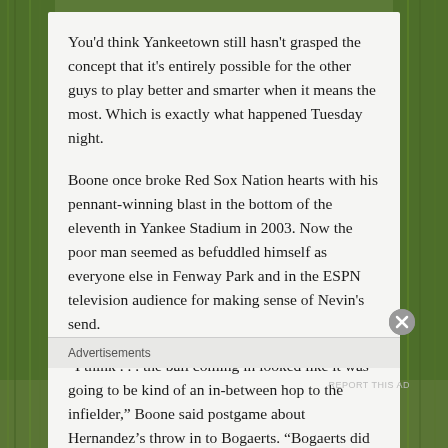You'd think Yankeetown still hasn't grasped the concept that it's entirely possible for the other guys to play better and smarter when it means the most. Which is exactly what happened Tuesday night.
Boone once broke Red Sox Nation hearts with his pennant-winning blast in the bottom of the eleventh in Yankee Stadium in 2003. Now the poor man seemed as befuddled himself as everyone else in Fenway Park and in the ESPN television audience for making sense of Nevin's send.
“I think . . . the ball coming in looked like it was going to be kind of an in-between hop to the infielder,” Boone said postgame about Hernandez’s throw in to Bogaerts. “Bogaerts did a good job of creating a hop, catching it clean and and obviously throwing home
Advertisements